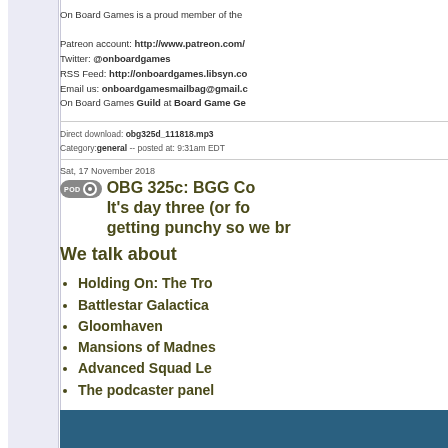On Board Games is a proud member of the
Patreon account: http://www.patreon.com/ Twitter: @onboardgames RSS Feed: http://onboardgames.libsyn.co Email us: onboardgamesmailbag@gmail.c On Board Games Guild at Board Game Ge
Direct download: obg325d_111818.mp3 Category: general -- posted at: 9:31am EDT
Sat, 17 November 2018
OBG 325c: BGG Co It's day three (or fo getting punchy so we br
We talk about
Holding On: The Tro
Battlestar Galactica
Gloomhaven
Mansions of Madnes
Advanced Squad Le
The podcaster panel
[Figure (screenshot): Blue-toned image strip at the bottom of the page]